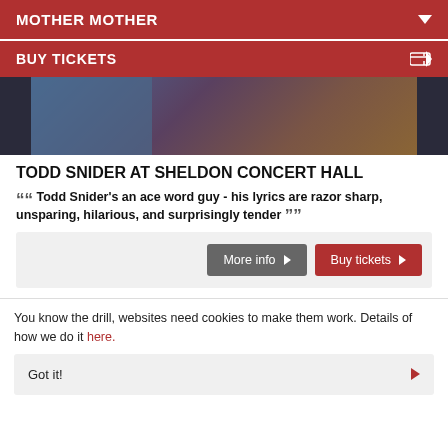MOTHER MOTHER
BUY TICKETS
[Figure (photo): Concert photo showing performers on stage with purple and blue lighting]
TODD SNIDER AT SHELDON CONCERT HALL
““ Todd Snider's an ace word guy - his lyrics are razor sharp, unsparing, hilarious, and surprisingly tender ””
More info | Buy tickets
You know the drill, websites need cookies to make them work. Details of how we do it here.
Got it!